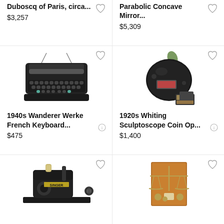Duboscq of Paris, circa...
$3,257
Parabolic Concave Mirror...
$5,309
[Figure (photo): Black vintage typewriter, 1940s Wanderer Werke with French keyboard]
1940s Wanderer Werke French Keyboard...
$475
[Figure (photo): 1920s Whiting Sculptoscope coin operated viewer, black metal device with accessories]
1920s Whiting Sculptoscope Coin Op...
$1,400
[Figure (photo): Antique Singer sewing machine, small black tabletop model]
[Figure (photo): Antique brass balance scale set in wooden case]